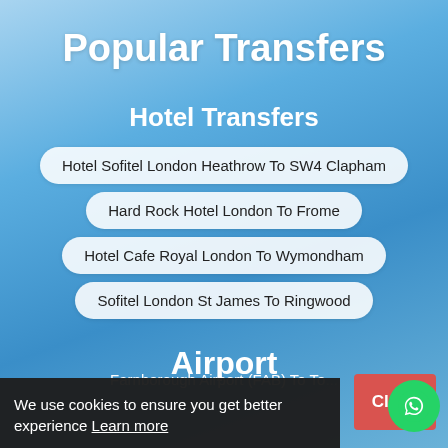Popular Transfers
Hotel Transfers
Hotel Sofitel London Heathrow To SW4 Clapham
Hard Rock Hotel London To Frome
Hotel Cafe Royal London To Wymondham
Sofitel London St James To Ringwood
Airport
Farnborough Airport (FAB) To To...
We use cookies to ensure you get better experience Learn more
Close